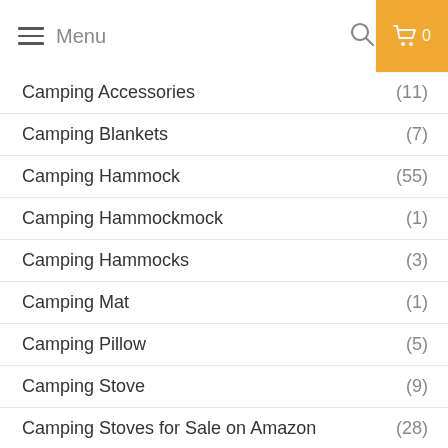Menu
Camping Accessories (11)
Camping Blankets (7)
Camping Hammock (55)
Camping Hammockmock (1)
Camping Hammocks (3)
Camping Mat (1)
Camping Pillow (5)
Camping Stove (9)
Camping Stoves for Sale on Amazon (28)
camping Tarp (4)
Camping Tent (8)
Canopy Swings (36)